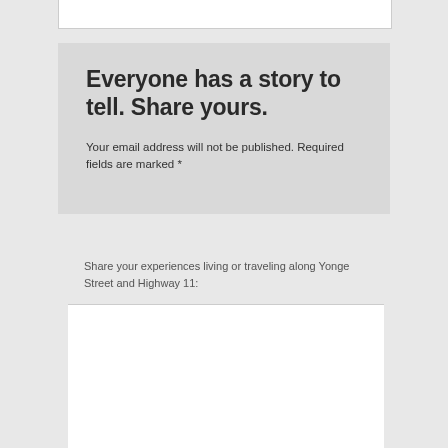Everyone has a story to tell. Share yours.
Your email address will not be published. Required fields are marked *
Share your experiences living or traveling along Yonge Street and Highway 11: